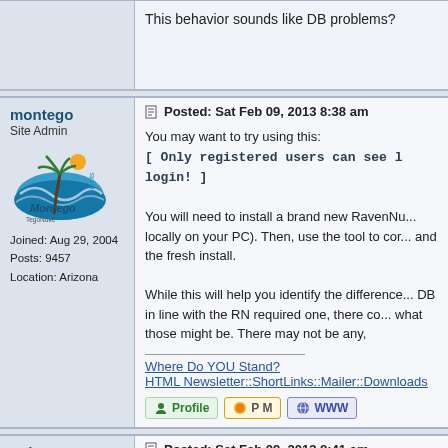This behavior sounds like DB problems?
montego
Site Admin
[Figure (logo): Montego Scripts / TegoNuke logo with wave and palm tree]
Joined: Aug 29, 2004
Posts: 9457
Location: Arizona
Posted: Sat Feb 09, 2013 8:38 am
You may want to try using this:
[ Only registered users can see links. Please login! ]
You will need to install a brand new RavenNu... locally on your PC). Then, use the tool to co... and the fresh install.
While this will help you identify the difference... DB in line with the RN required one, there co... what those might be. There may not be any,
Where Do YOU Stand?
HTML Newsletter::ShortLinks::Mailer::Downloads
nuken
Posted: Sat Feb 09, 2013 8:41 am
The users, authors and session tables in RN... you are having issues. You could compare th... where you might need to modify them.